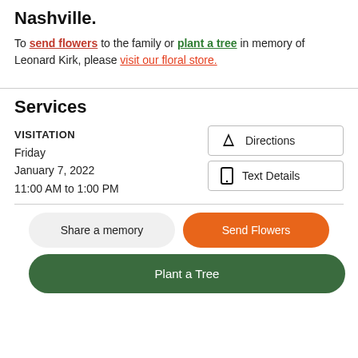Nashville.
To send flowers to the family or plant a tree in memory of Leonard Kirk, please visit our floral store.
Services
VISITATION
Friday
January 7, 2022
11:00 AM to 1:00 PM
Directions
Text Details
Share a memory
Send Flowers
Plant a Tree